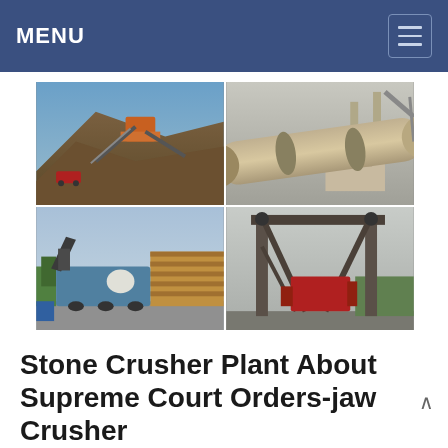MENU
[Figure (photo): Four industrial photos in a 2x2 grid: top-left shows a mining/crushing plant on a hillside with orange machinery and conveyor belts; top-right shows a large industrial rotary kiln or drum cylinder; bottom-left shows a mobile stone crusher plant on a paved lot with stacked lumber in the background; bottom-right shows an industrial crane or gantry structure with red machinery underneath.]
Stone Crusher Plant About Supreme Court Orders-jaw Crusher